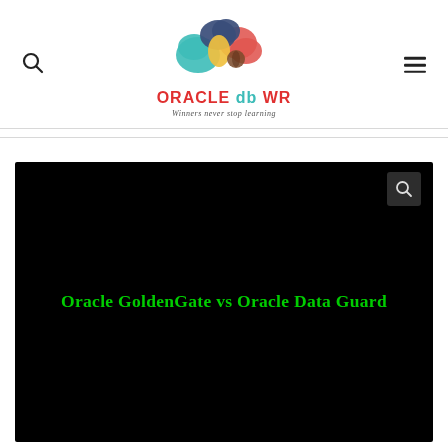ORACLE db WR — Winners never stop learning
[Figure (screenshot): Black video thumbnail with green bold text reading 'Oracle GoldenGate vs Oracle Data Guard' and a search icon in the top-right corner]